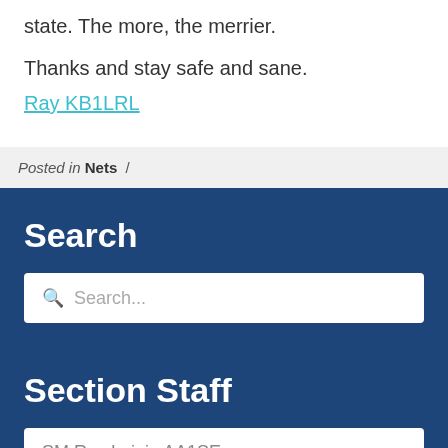state. The more, the merrier.
Thanks and stay safe and sane.
Ray KB1LRL
Posted in Nets /
Search
Search...
Section Staff
SM Ray Lajoie AA1SE